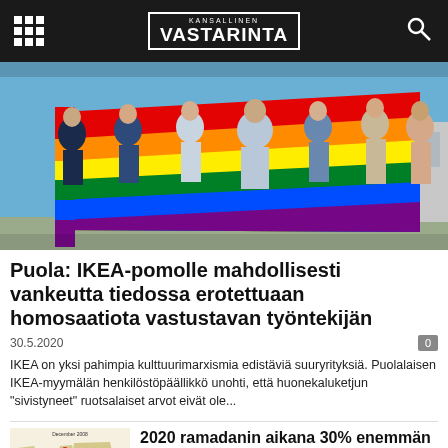KANSALLINEN VASTARINTA
[Figure (photo): Group of people holding a large rainbow pride flag outdoors in front of a building]
Puola: IKEA-pomolle mahdollisesti vankeutta tiedossa erotettuaan homosaatiota vastustavan työntekijän
30.5.2020
IKEA on yksi pahimpia kulttuurimarxismia edistäviä suuryrityksiä. Puolalaisen IKEA-myymälän henkilöstöpäällikkö unohti, että huonekaluketjun "sivistyneet" ruotsalaiset arvot eivät ole...
[Figure (map): World map showing terrorist attack locations during Ramadan 2020]
2020 ramadanin aikana 30% enemmän jihadisti-iskuja kuin aiempana vuonna koronasta huolimatta